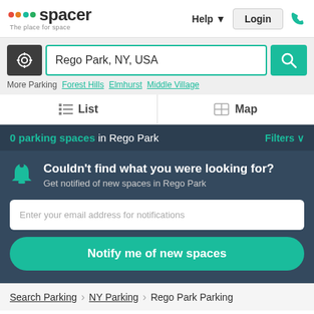[Figure (logo): Spacer logo with colorful dots and text 'The place for space']
Help ▼   Login   📞
Rego Park, NY, USA
More Parking   Forest Hills   Elmhurst   Middle Village
☰ List   🗺 Map
0 parking spaces in Rego Park   Filters ∨
Couldn't find what you were looking for?
Get notified of new spaces in Rego Park
Enter your email address for notifications
Notify me of new spaces
Search Parking  >  NY Parking  >  Rego Park Parking